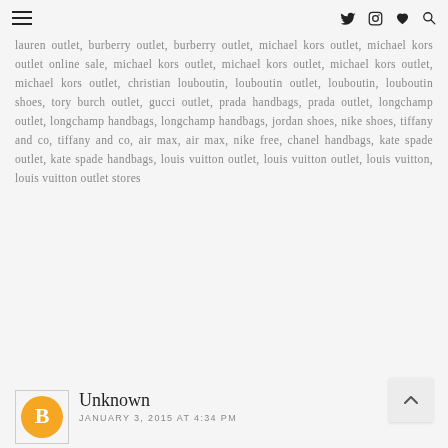Navigation bar with hamburger menu, Twitter, Instagram, heart, and search icons
lauren outlet, burberry outlet, burberry outlet, michael kors outlet, michael kors outlet online sale, michael kors outlet, michael kors outlet, michael kors outlet, michael kors outlet, christian louboutin, louboutin outlet, louboutin, louboutin shoes, tory burch outlet, gucci outlet, prada handbags, prada outlet, longchamp outlet, longchamp handbags, longchamp handbags, jordan shoes, nike shoes, tiffany and co, tiffany and co, air max, air max, nike free, chanel handbags, kate spade outlet, kate spade handbags, louis vuitton outlet, louis vuitton outlet, louis vuitton, louis vuitton outlet stores
REPLY
Unknown
JANUARY 3, 2015 AT 4:34 PM